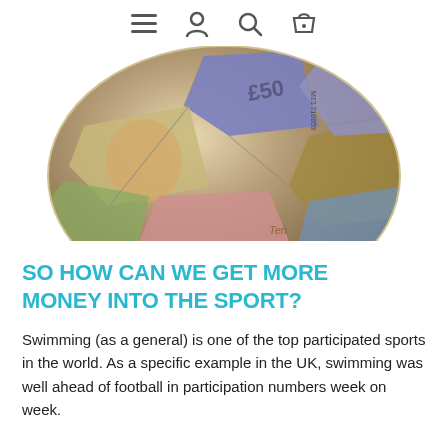☰ 👤 🔍 🛍
[Figure (photo): A soccer ball made of UK pound banknotes including £50 notes, photographed on a light background.]
SO HOW CAN WE GET MORE MONEY INTO THE SPORT?
Swimming (as a general) is one of the top participated sports in the world. As a specific example in the UK, swimming was well ahead of football in participation numbers week on week.